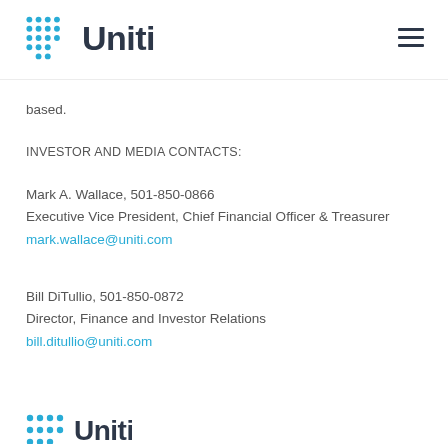Uniti
based.
INVESTOR AND MEDIA CONTACTS:
Mark A. Wallace, 501-850-0866
Executive Vice President, Chief Financial Officer & Treasurer
mark.wallace@uniti.com
Bill DiTullio, 501-850-0872
Director, Finance and Investor Relations
bill.ditullio@uniti.com
[Figure (logo): Uniti logo (partial) at bottom of page]